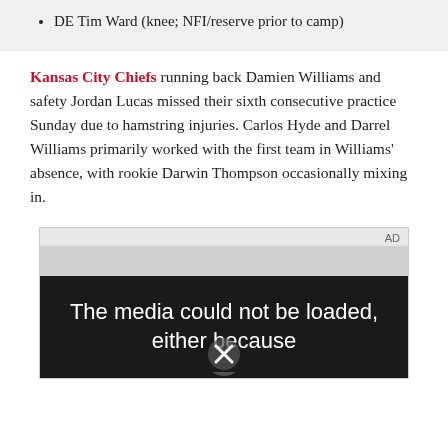DE Tim Ward (knee; NFI/reserve prior to camp)
Kansas City Chiefs running back Damien Williams and safety Jordan Lucas missed their sixth consecutive practice Sunday due to hamstring injuries. Carlos Hyde and Darrel Williams primarily worked with the first team in Williams' absence, with rookie Darwin Thompson occasionally mixing in.
[Figure (other): Advertisement video player showing 'The media could not be loaded, either because' with an X close icon overlay]